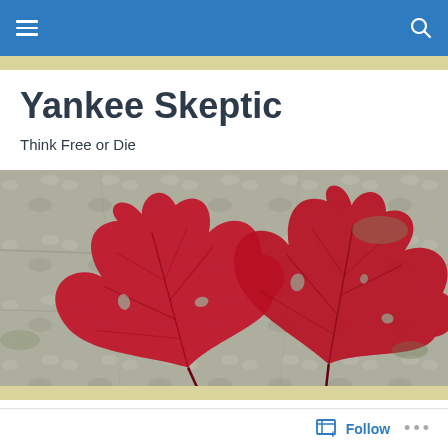Yankee Skeptic — navigation bar with menu and search icons
Yankee Skeptic
Think Free or Die
[Figure (photo): Two large red maple leaves resting on a granite rock surface, viewed from above. Autumn foliage photograph.]
TAGGED WITH PHIL PLAIT
A Skeptic's Home Library
Follow   ...